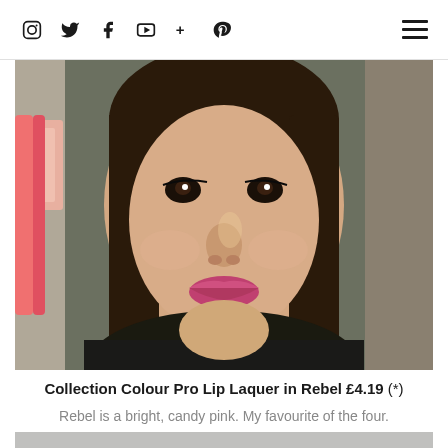Navigation bar with social icons: Instagram, Twitter, Facebook, YouTube, Google+, Pinterest, and hamburger menu
[Figure (photo): Close-up photo of an Asian woman wearing bright candy pink lipstick, with long dark hair, subtle eye makeup, and a dark textured top. Background shows a pink decorative element.]
Collection Colour Pro Lip Laquer in Rebel £4.19 (*)
Rebel is a bright, candy pink. My favourite of the four.